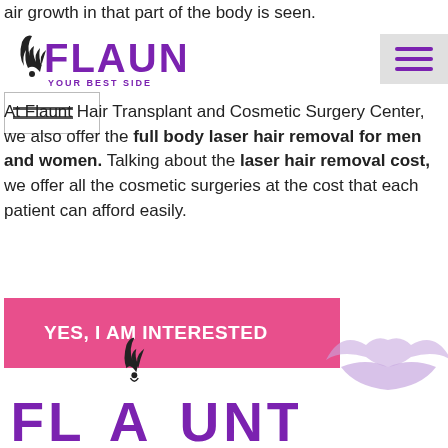air growth in that part of the body is seen.
[Figure (logo): Flaunt Your Best Side logo with stylized flame/hair icon in purple]
[Figure (other): Navigation hamburger menu button with three purple horizontal bars on grey background]
[Figure (other): Search/filter box with horizontal lines]
At Flaunt Hair Transplant and Cosmetic Surgery Center, we also offer the full body laser hair removal for men and women. Talking about the laser hair removal cost, we offer all the cosmetic surgeries at the cost that each patient can afford easily.
YES, I AM INTERESTED
[Figure (illustration): Light purple decorative lips illustration in bottom right area]
[Figure (logo): Flaunt logo large version at bottom with stylized hair growth icon in purple]